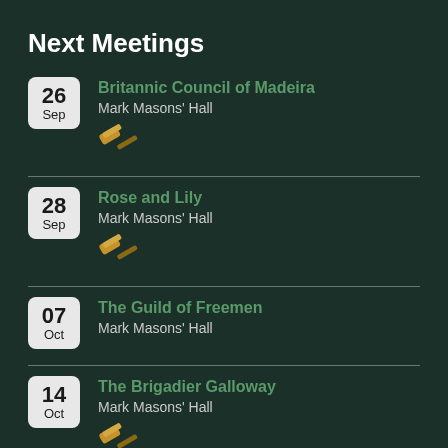Next Meetings
26 Sep — Britannic Council of Madeira, Mark Masons' Hall
28 Sep — Rose and Lily, Mark Masons' Hall
07 Oct — The Guild of Freemen, Mark Masons' Hall
14 Oct — The Brigadier Galloway, Mark Masons' Hall
15 Oct — The Goose & Gridiron, Mark Masons' Hall